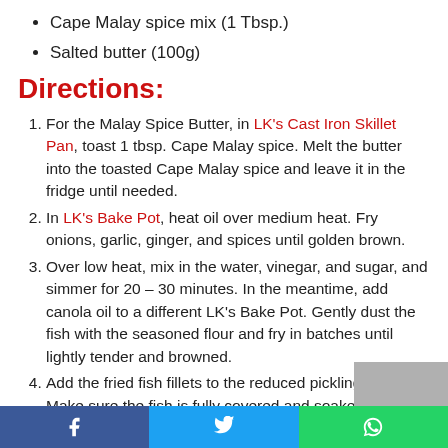Cape Malay spice mix (1 Tbsp.)
Salted butter (100g)
Directions:
For the Malay Spice Butter, in LK's Cast Iron Skillet Pan, toast 1 tbsp. Cape Malay spice. Melt the butter into the toasted Cape Malay spice and leave it in the fridge until needed.
In LK's Bake Pot, heat oil over medium heat. Fry onions, garlic, ginger, and spices until golden brown.
Over low heat, mix in the water, vinegar, and sugar, and simmer for 20 – 30 minutes. In the meantime, add canola oil to a different LK's Bake Pot. Gently dust the fish with the seasoned flour and fry in batches until lightly tender and browned.
Add the fried fish fillets to the reduced pickling sauce. Make sure the fish is fully covered and soaked by the pickle sauce and leave it to marinate and pickle for a day or two.
Social share bar: Facebook, Twitter, WhatsApp